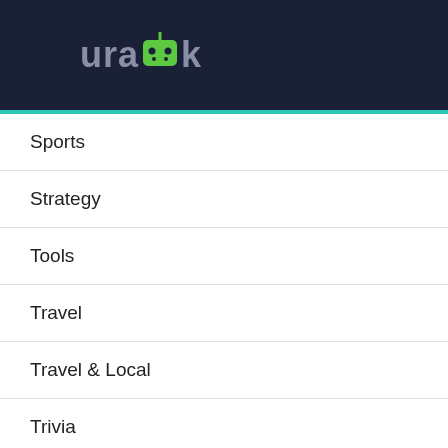urapk
Sports
Strategy
Tools
Travel
Travel & Local
Trivia
Video Players & Editors
Weather
Word games